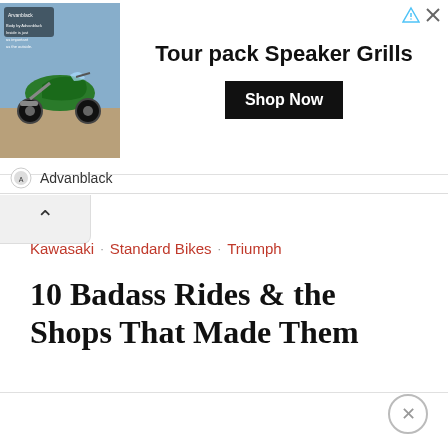[Figure (screenshot): Advertisement banner for Advanblack Tour pack Speaker Grills featuring a green motorcycle on desert background, with 'Shop Now' button]
Advanblack
Kawasaki   Standard Bikes   Triumph
10 Badass Rides & the Shops That Made Them